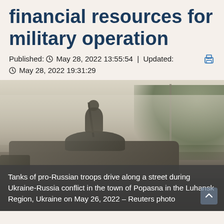financial resources for military operation
Published: ○ May 28, 2022 13:55:54 | Updated: ○ May 28, 2022 19:31:29
[Figure (photo): Tanks of pro-Russian troops driving along a street during Ukraine-Russia conflict in the town of Popasna in the Luhansk Region, Ukraine. A soldier is visible standing in the tank turret. Misty, hazy conditions.]
Tanks of pro-Russian troops drive along a street during Ukraine-Russia conflict in the town of Popasna in the Luhansk Region, Ukraine on May 26, 2022 – Reuters photo